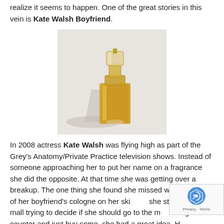realize it seems to happen. One of the great stories in this vein is Kate Walsh Boyfriend.
[Figure (photo): A glass perfume bottle with golden/amber colored fragrance, photographed on a light gray background with a shadow cast to the left.]
In 2008 actress Kate Walsh was flying high as part of the Grey's Anatomy/Private Practice television shows. Instead of someone approaching her to put her name on a fragrance she did the opposite. At that time she was getting over a breakup. The one thing she found she missed was the smell of her boyfriend's cologne on her skin. As she stood at the mall trying to decide if she should go to the men's fragrance counter and just buy some, she had a great idea. How about making a perfume that smells like your boyfriend on your skin. Since